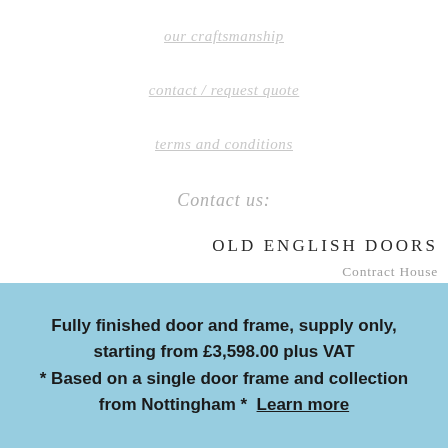our craftsmanship
contact / request quote
terms and conditions
Contact us:
OLD ENGLISH DOORS
Contract House
5 Daleside Road
Nottingham
Fully finished door and frame, supply only, starting from £3,598.00 plus VAT
* Based on a single door frame and collection from Nottingham *  Learn more